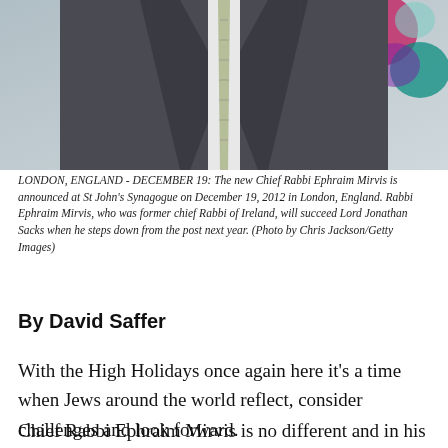[Figure (photo): Photo of Chief Rabbi Ephraim Mirvis in a dark suit and patterned tie, with colorful bokeh shapes in the background]
LONDON, ENGLAND - DECEMBER 19: The new Chief Rabbi Ephraim Mirvis is announced at St John's Synagogue on December 19, 2012 in London, England. Rabbi Ephraim Mirvis, who was former chief Rabbi of Ireland, will succeed Lord Jonathan Sacks when he steps down from the post next year. (Photo by Chris Jackson/Getty Images)
By David Saffer
With the High Holidays once again here it’s a time when Jews around the world reflect, consider challenges and look forward.
Chief Rabbi Ephraim Mirvis is no different and in his first in-depth interview with the Jewish Weekly he